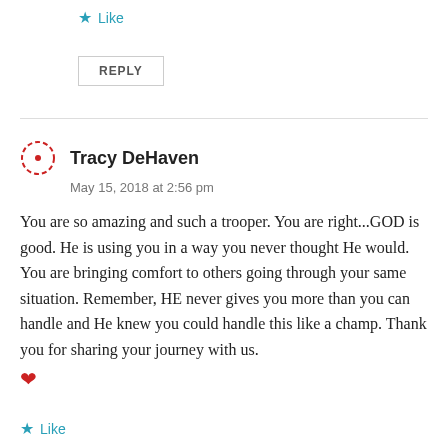Like
REPLY
Tracy DeHaven
May 15, 2018 at 2:56 pm
You are so amazing and such a trooper. You are right...GOD is good. He is using you in a way you never thought He would. You are bringing comfort to others going through your same situation. Remember, HE never gives you more than you can handle and He knew you could handle this like a champ. Thank you for sharing your journey with us. ❤
Like